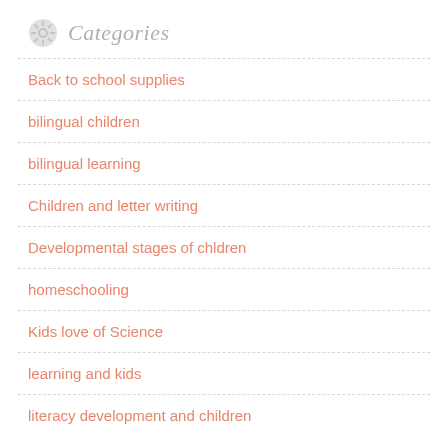Categories
Back to school supplies
bilingual children
bilingual learning
Children and letter writing
Developmental stages of chldren
homeschooling
Kids love of Science
learning and kids
literacy development and children